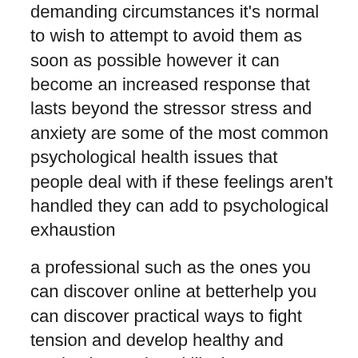demanding circumstances it's normal to wish to attempt to avoid them as soon as possible however it can become an increased response that lasts beyond the stressor stress and anxiety are some of the most common psychological health issues that people deal with if these feelings aren't handled they can add to psychological exhaustion
a professional such as the ones you can discover online at betterhelp you can discover practical ways to fight tension and develop healthy and productive coping skills that you can utilize throughout your life by doing so you can focus on what enhances